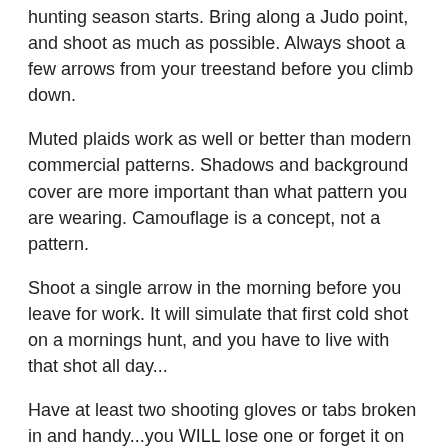hunting season starts. Bring along a Judo point, and shoot as much as possible. Always shoot a few arrows from your treestand before you climb down.
Muted plaids work as well or better than modern commercial patterns. Shadows and background cover are more important than what pattern you are wearing. Camouflage is a concept, not a pattern.
Shoot a single arrow in the morning before you leave for work. It will simulate that first cold shot on a mornings hunt, and you have to live with that shot all day...
Have at least two shooting gloves or tabs broken in and handy...you WILL lose one or forget it on the kitchen counter.
Two spare strings is not too many... shoot a couple in during the summer 3D season, and keep them handy during the hunting season. Sew one inside your hunting hat.